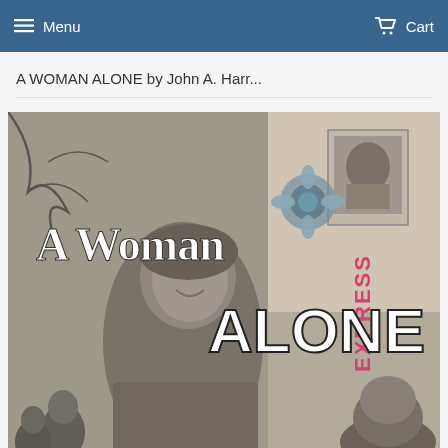Menu  Cart
A WOMAN ALONE by John A. Harr...
[Figure (photo): Book cover for 'A Woman Alone' showing a black and white collage image with a woman in the foreground smiling, text reading 'A Woman ALONE' in large white and bold letters, and background elements including postage stamps and the word 'EXPRESS' in pink vertical text.]